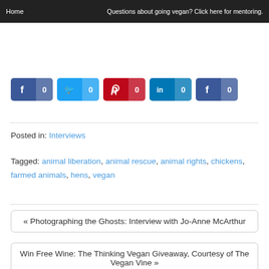Home | Questions about going vegan? Click here for mentoring.
[Figure (infographic): Five social share buttons: Facebook (0), Twitter (0), Pinterest (0), LinkedIn (0), Facebook (0)]
Posted in: Interviews
Tagged: animal liberation, animal rescue, animal rights, chickens, farmed animals, hens, vegan
« Photographing the Ghosts: Interview with Jo-Anne McArthur
Win Free Wine: The Thinking Vegan Giveaway, Courtesy of The Vegan Vine »